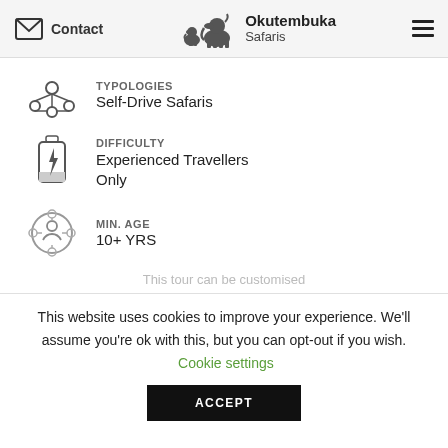Contact | Okutembuka Safaris
TYPOLOGIES
Self-Drive Safaris
DIFFICULTY
Experienced Travellers Only
MIN. AGE
10+ YRS
This tour can be customised
This website uses cookies to improve your experience. We'll assume you're ok with this, but you can opt-out if you wish. Cookie settings
ACCEPT